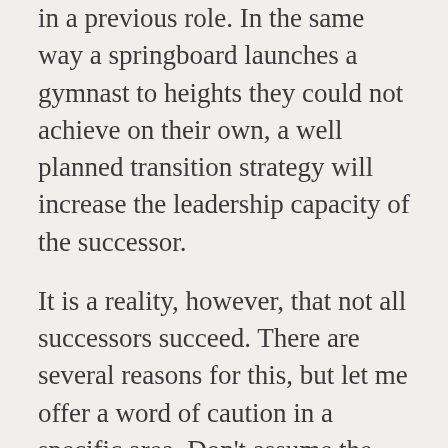in a previous role. In the same way a springboard launches a gymnast to heights they could not achieve on their own, a well planned transition strategy will increase the leadership capacity of the successor.
It is a reality, however, that not all successors succeed. There are several reasons for this, but let me offer a word of caution in a specific area. Don't assume the successor has developed every skill needed for success in their new role. No one is perfect. We all have blind spots. Not creating capacity day 1 for the successor to grow is an all too common mistake. Organizations tend to assume (insert joke here!) that the new leader will have everything needed to move them forward. Not necessarily. Depending on the size and scope of responsibilities, it is anywhere from 6-9 months when their leadership deficiencies become exposed. We've all seen it. We even have a